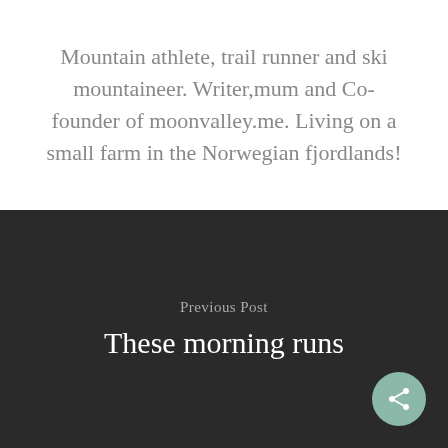Mountain athlete, trail runner and ski mountaineer. Writer,mum and Co-founder of moonvalley.me. Living on a small farm in the Norwegian fjordlands!
Previous Post
These morning runs